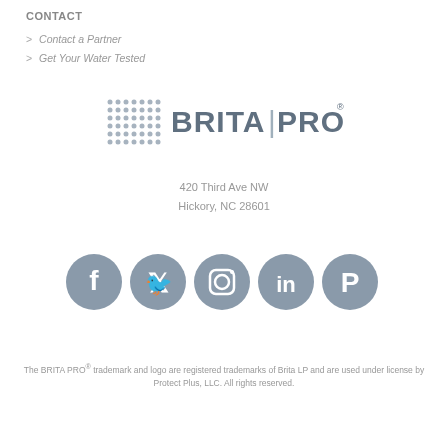CONTACT
> Contact a Partner
> Get Your Water Tested
[Figure (logo): BRITA PRO logo with dot-grid square icon and wordmark]
420 Third Ave NW
Hickory, NC 28601
[Figure (infographic): Social media icons: Facebook, Twitter, Instagram, LinkedIn, Pinterest]
The BRITA PRO® trademark and logo are registered trademarks of Brita LP and are used under license by Protect Plus, LLC. All rights reserved.